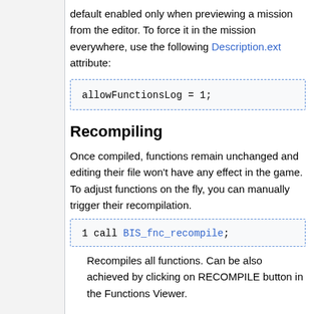default enabled only when previewing a mission from the editor. To force it in the mission everywhere, use the following Description.ext attribute:
allowFunctionsLog = 1;
Recompiling
Once compiled, functions remain unchanged and editing their file won't have any effect in the game. To adjust functions on the fly, you can manually trigger their recompilation.
1 call BIS_fnc_recompile;
Recompiles all functions. Can be also achieved by clicking on RECOMPILE button in the Functions Viewer.